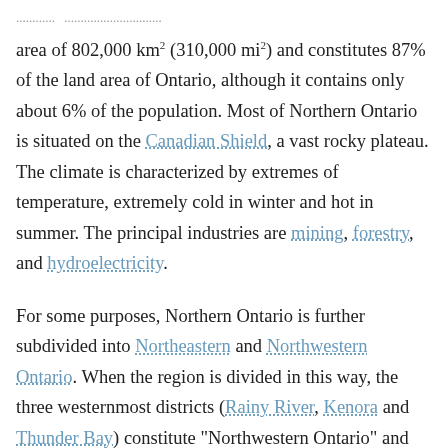area of 802,000 km² (310,000 mi²) and constitutes 87% of the land area of Ontario, although it contains only about 6% of the population. Most of Northern Ontario is situated on the Canadian Shield, a vast rocky plateau. The climate is characterized by extremes of temperature, extremely cold in winter and hot in summer. The principal industries are mining, forestry, and hydroelectricity.
For some purposes, Northern Ontario is further subdivided into Northeastern and Northwestern Ontario. When the region is divided in this way, the three westernmost districts (Rainy River, Kenora and Thunder Bay) constitute "Northwestern Ontario" and the other districts constitute